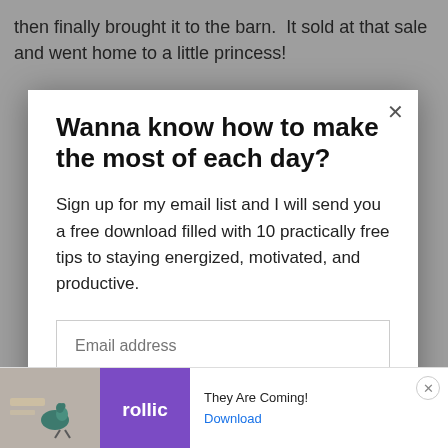then finally brought it to the barn.  It sold at that sale and went home to a little princess!
Wanna know how to make the most of each day?
Sign up for my email list and I will send you a free download filled with 10 practically free tips to staying energized, motivated, and productive.
Email address
Subscribe
Ad  They Are Coming!  Download